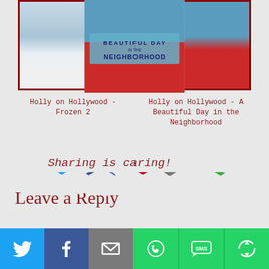[Figure (screenshot): Two movie thumbnail cards: Frozen 2 movie poster on left, A Beautiful Day in the Neighborhood poster on right, both with dark red borders]
Holly on Hollywood - Frozen 2
Holly on Hollywood - A Beautiful Day in the Neighborhood
Sharing is caring!
[Figure (other): Social share buttons: Twitter (blue bird), Facebook (blue f), Pinterest (red P), Email (gray envelope), More (green circular arrows)]
Leave a Reply
[Figure (other): Bottom share bar with Twitter, Facebook, Email, WhatsApp, SMS, and More buttons]